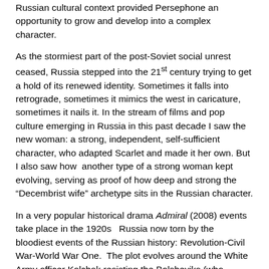Russian cultural context provided Persephone an opportunity to grow and develop into a complex character.
As the stormiest part of the post-Soviet social unrest ceased, Russia stepped into the 21st century trying to get a hold of its renewed identity. Sometimes it falls into retrograde, sometimes it mimics the west in caricature, sometimes it nails it. In the stream of films and pop culture emerging in Russia in this past decade I saw the new woman: a strong, independent, self-sufficient character, who adapted Scarlet and made it her own. But I also saw how  another type of a strong woman kept evolving, serving as proof of how deep and strong the “Decembrist wife” archetype sits in the Russian character.
In a very popular historical drama Admiral (2008) events take place in the 1920s  Russia now torn by the bloodiest events of the Russian history: Revolution-Civil War-World War One.  The plot evolves around the White Army officer Kolchak resisting the Bolsheviks (who achieved where the Decembrists failed). Executed by Bolsheviks and vilified throughout Soviet history, Kolchak is now offered to Russians as a hero along with his woman who shared his tragic fate. Two unbearably beautiful Russian actors are reenacting the “Decembrist wife” scenario to an overwhelming cheer.